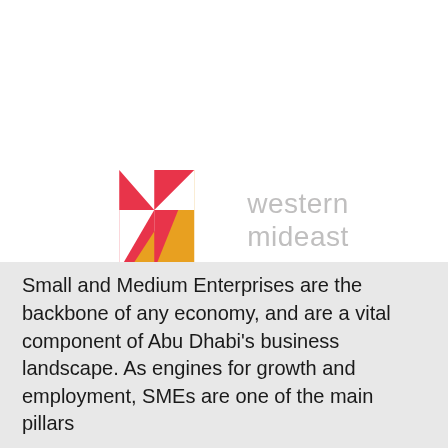[Figure (logo): Western Mideast logo: a geometric M shape made of pink/red and orange triangles, with the text 'western mideast' in light grey to the right]
Small and Medium Enterprises are the backbone of any economy, and are a vital component of Abu Dhabi's business landscape. As engines for growth and employment, SMEs are one of the main pillars